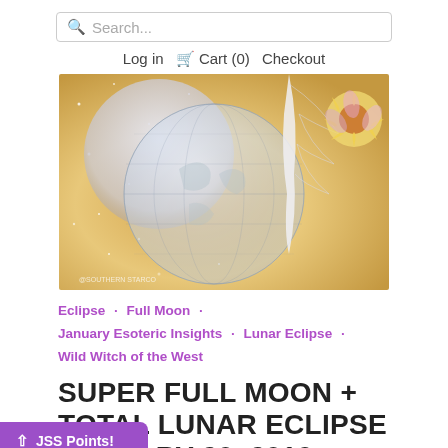Search...
Log in   Cart (0)   Checkout
[Figure (illustration): Decorative image with globe/world map, moon, feather, and sunflower on glittery gold background. Watermark: @SOUTHERN STARCO]
Eclipse · Full Moon · January Esoteric Insights · Lunar Eclipse · Wild Witch of the West
SUPER FULL MOON + TOTAL LUNAR ECLIPSE JANUARY 20, 2019: SELF
JSS Points!